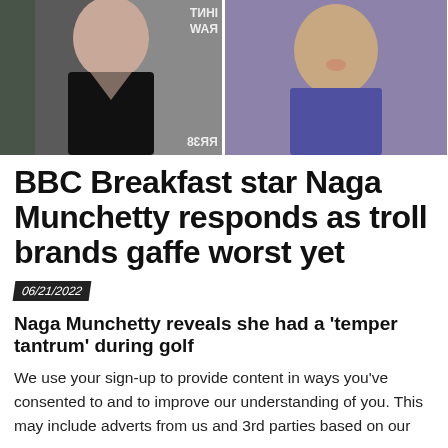[Figure (photo): Two side-by-side photos: left shows a woman in a black low-cut dress at an event with reflected text visible; right shows a person in a purple top talking.]
BBC Breakfast star Naga Munchetty responds as troll brands gaffe worst yet
06/21/2022
Naga Munchetty reveals she had a ‘temper tantrum’ during golf
We use your sign-up to provide content in ways you’ve consented to and to improve our understanding of you. This may include adverts from us and 3rd parties based on our